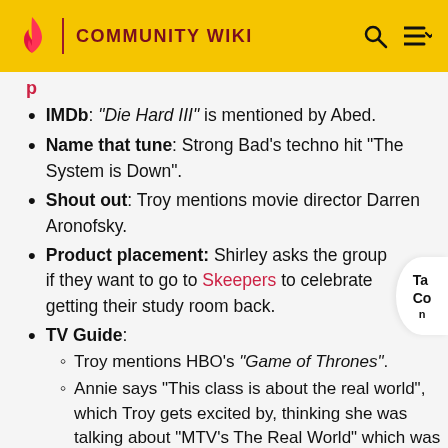COMMUNITY WIKI
IMDb: "Die Hard III" is mentioned by Abed.
Name that tune: Strong Bad's techno hit "The System is Down".
Shout out: Troy mentions movie director Darren Aronofsky.
Product placement: Shirley asks the group if they want to go to Skeepers to celebrate getting their study room back.
TV Guide:
Troy mentions HBO's "Game of Thrones".
Annie says "This class is about the real world", which Troy gets excited by, thinking she was talking about "MTV's The Real World" which was